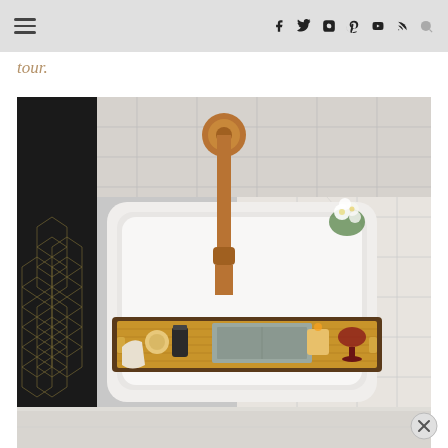Navigation bar with hamburger menu and social icons: Facebook, Twitter, Instagram, Pinterest, YouTube, RSS, Search
tour.
[Figure (photo): Overhead/top-down view of a bathtub with a copper ceiling-mounted faucet, marble tile walls on right, black hexagon tile on left, and a wooden bath tray holding books, toiletries, a candle, and a wine glass.]
[Figure (photo): Partial bottom reflection of the bathroom floor, white/grey marble.]